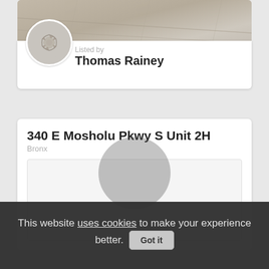[Figure (photo): Top portion of a real estate listing card showing a wood floor/room interior photo]
Listed by
Thomas Rainey
340 E Mosholu Pkwy S Unit 2H
Bronx
[Figure (photo): Blank/empty property listing photo placeholder]
This website uses cookies to make your experience better.
Got it